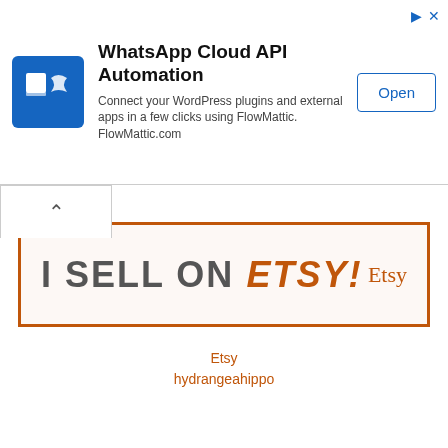[Figure (screenshot): Advertisement banner for WhatsApp Cloud API Automation by FlowMattic. Shows a blue square icon with a stylized S-shape, heading 'WhatsApp Cloud API Automation', description text, and an Open button. Top-right corner has ad/close icons.]
[Figure (screenshot): A collapse/chevron-up button bar below the ad banner.]
[Figure (illustration): Etsy promotional banner with orange border reading 'I SELL ON ETSY!' with 'ETSY' in orange italic letters, and 'Etsy' logo text on the right.]
Etsy
hydrangeahippo